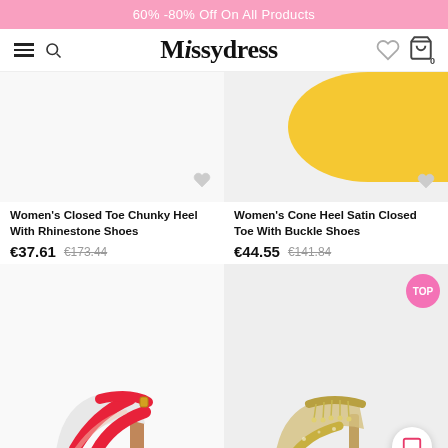60% -80% Off On All Products
Missydress
Women's Closed Toe Chunky Heel With Rhinestone Shoes €37.61 €173.44
Women's Cone Heel Satin Closed Toe With Buckle Shoes €44.55 €141.84
[Figure (photo): Red cross-strap high heel shoe]
[Figure (photo): Gold rhinestone ankle strap heel shoe]